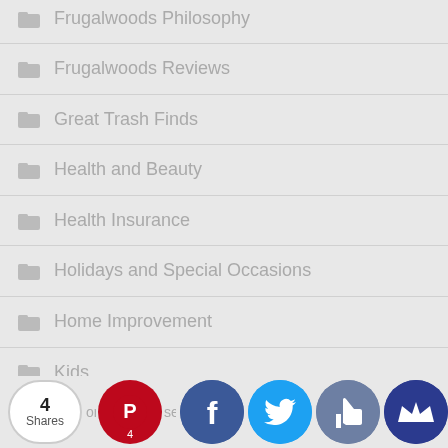Frugalwoods Philosophy
Frugalwoods Reviews
Great Trash Finds
Health and Beauty
Health Insurance
Holidays and Special Occasions
Home Improvement
Kids
Marriage & Money
[Figure (screenshot): Social share buttons bar at bottom: 4 Shares counter, Pinterest (4), Facebook, Twitter, Like, Crown buttons]